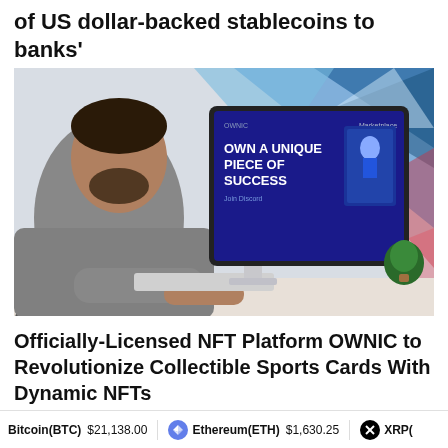of US dollar-backed stablecoins to banks'
[Figure (photo): Person sitting at a desk using a computer monitor displaying the OWNIC NFT marketplace with text 'OWN A UNIQUE PIECE OF SUCCESS' and 'Join Discord'. Colorful geometric triangle background.]
Officially-Licensed NFT Platform OWNIC to Revolutionize Collectible Sports Cards With Dynamic NFTs
Bitcoin(BTC) $21,138.00    Ethereum(ETH) $1,630.25    XRP(